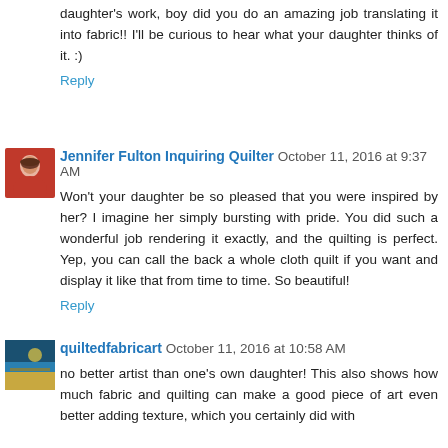daughter's work, boy did you do an amazing job translating it into fabric!! I'll be curious to hear what your daughter thinks of it. :)
Reply
[Figure (photo): Avatar photo of Jennifer Fulton Inquiring Quilter, a woman with short brown hair wearing a red top]
Jennifer Fulton Inquiring Quilter  October 11, 2016 at 9:37 AM
Won't your daughter be so pleased that you were inspired by her? I imagine her simply bursting with pride. You did such a wonderful job rendering it exactly, and the quilting is perfect. Yep, you can call the back a whole cloth quilt if you want and display it like that from time to time. So beautiful!
Reply
[Figure (photo): Avatar thumbnail image showing a colorful abstract painting, quiltedfabricart]
quiltedfabricart  October 11, 2016 at 10:58 AM
no better artist than one's own daughter! This also shows how much fabric and quilting can make a good piece of art even better adding texture, which you certainly did with